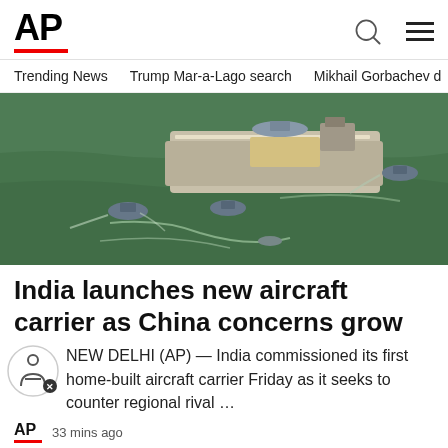AP
Trending News   Trump Mar-a-Lago search   Mikhail Gorbachev d
[Figure (photo): Aerial view of India's first home-built aircraft carrier surrounded by tugboats on green water]
India launches new aircraft carrier as China concerns grow
NEW DELHI (AP) — India commissioned its first home-built aircraft carrier Friday as it seeks to counter regional rival …
AP   33 mins ago
Ad Content